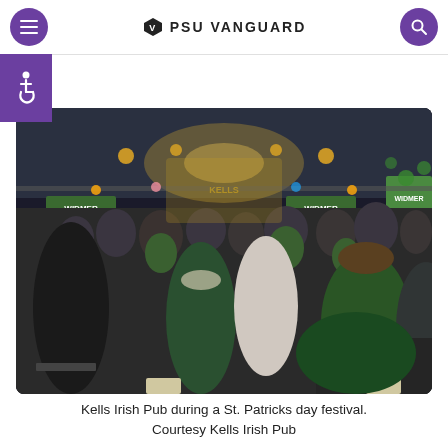PSU VANGUARD
[Figure (photo): Crowded indoor St. Patrick's Day festival at Kells Irish Pub. People in green clothing fill a large tent-like venue. Widmer beer banners hang from scaffolding. Stage with yellow lighting visible in the background. Foreground shows seated and standing attendees, several wearing green.]
Kells Irish Pub during a St. Patricks day festival. Courtesy Kells Irish Pub